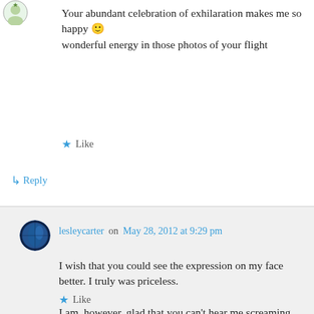[Figure (illustration): Small avatar icon of a user at top left, cartoon style with green tones]
Your abundant celebration of exhilaration makes me so happy 🙂 wonderful energy in those photos of your flight
Like
↳ Reply
[Figure (photo): Round avatar photo of lesleycarter, dark blue globe-like image]
lesleycarter on May 28, 2012 at 9:29 pm
I wish that you could see the expression on my face better. I truly was priceless.

I am, however, glad that you can't hear me screaming. 😉
Like